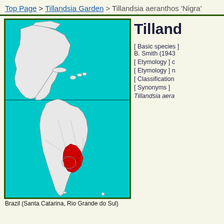Top Page > Tillandsia Garden > Tillandsia aeranthos 'Nigra'
[Figure (map): Map of the Americas (North and South America) with the distribution range of Tillandsia aeranthos highlighted in red, covering parts of southern Brazil (Santa Catarina, Rio Grande do Sul), Uruguay, and adjacent Argentina. The ocean/sea areas are cyan/light blue, land is white/light grey with country borders.]
Tilland
[ Basic species ] B. Smith (1943)
[ Etymology ] c
[ Etymology ] n
[ Classification
[ Synonyms ]
Tillandsia aera
Brazil (Santa Catarina, Rio Grande do Sul)